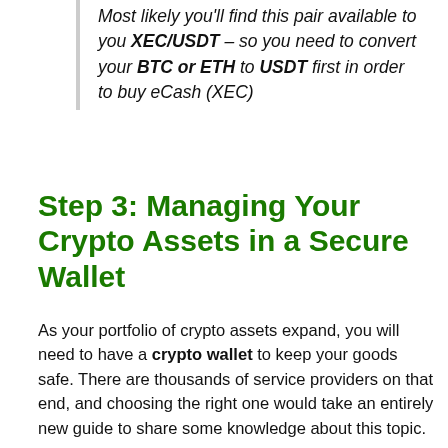Most likely you'll find this pair available to you XEC/USDT – so you need to convert your BTC or ETH to USDT first in order to buy eCash (XEC)
Step 3: Managing Your Crypto Assets in a Secure Wallet
As your portfolio of crypto assets expand, you will need to have a crypto wallet to keep your goods safe. There are thousands of service providers on that end, and choosing the right one would take an entirely new guide to share some knowledge about this topic.